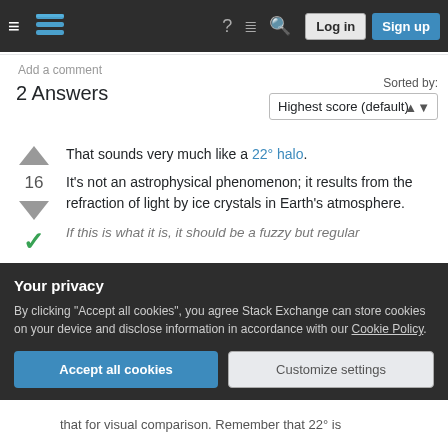Stack Exchange navigation bar with Log in and Sign up buttons
Add a comment
2 Answers
Sorted by: Highest score (default)
That sounds very much like a 22° halo.
It's not an astrophysical phenomenon; it results from the refraction of light by ice crystals in Earth's atmosphere.
If this is what it is, it should be a fuzzy but regular
Your privacy
By clicking "Accept all cookies", you agree Stack Exchange can store cookies on your device and disclose information in accordance with our Cookie Policy.
Accept all cookies   Customize settings
that for visual comparison. Remember that 22° is